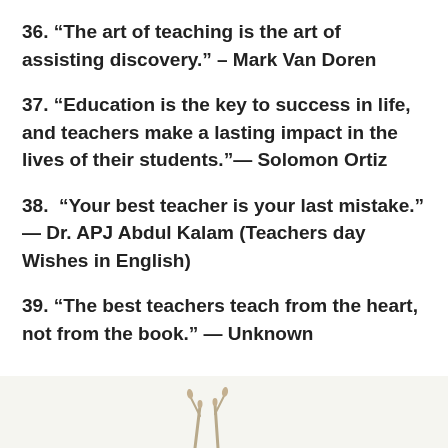36. “The art of teaching is the art of assisting discovery.” – Mark Van Doren
37. “Education is the key to success in life, and teachers make a lasting impact in the lives of their students.”— Solomon Ortiz
38.  “Your best teacher is your last mistake.” — Dr. APJ Abdul Kalam (Teachers day Wishes in English)
39. “The best teachers teach from the heart, not from the book.” — Unknown
[Figure (photo): Bottom portion of a decorative image, possibly hands or a nature element, partially visible at the bottom of the page.]